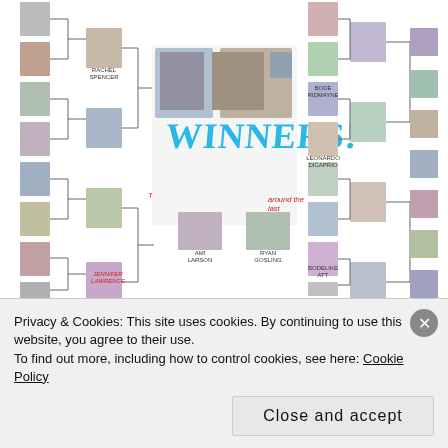[Figure (organizational-chart): Celebrity bracket tournament chart with small headshot photos arranged in a bracket format. Center shows 'WINNERS!' text in large teal/blue letters. Names visible include Rachel Spencer, Jennifer Lawrence, Ansel Elgort, Ryan Gosling, Leonardo DiCaprio, Bradley Cooper, among others. Some labels in red italic text reading 'Tagged to...' and text about 'the last'. Various celebrity headshots in small boxes connected by bracket lines.]
My most sincere and envious congratulations to you three. Admittedly, I didn't expect to give this award to a couple, but the Redmayne's really brought it this year and there was simply no denying their power-
Privacy & Cookies: This site uses cookies. By continuing to use this website, you agree to their use.
To find out more, including how to control cookies, see here: Cookie Policy
Close and accept